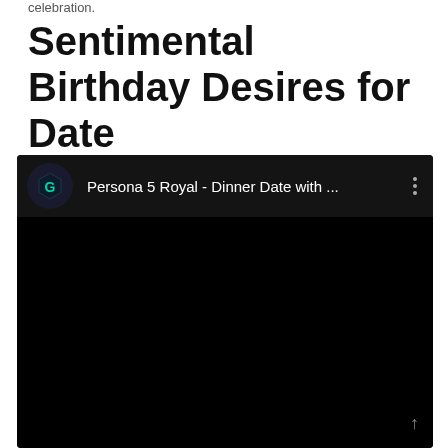celebration.
Sentimental Birthday Desires for Date
[Figure (screenshot): A YouTube/video embed widget with a dark background. Shows a channel icon (teal hexagonal G logo on dark circle), text 'Persona 5 Royal - Dinner Date with ...' in white on dark background, and a three-dot menu icon. The main content area is black/dark. A small arrow icon appears in the lower right corner.]